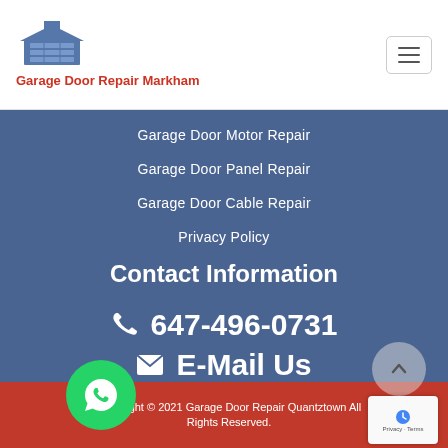Garage Door Repair Markham
Garage Door Motor Repair
Garage Door Panel Repair
Garage Door Cable Repair
Privacy Policy
Contact Information
647-496-0731
E-Mail Us
Copyright © 2021 Garage Door Repair Quantztown All Rights Reserved.